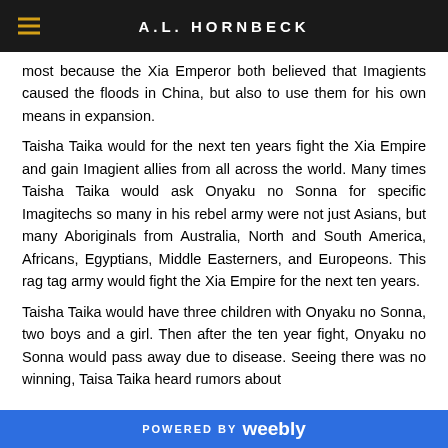A.L. HORNBECK
most because the Xia Emperor both believed that Imagients caused the floods in China, but also to use them for his own means in expansion.
Taisha Taika would for the next ten years fight the Xia Empire and gain Imagient allies from all across the world. Many times Taisha Taika would ask Onyaku no Sonna for specific Imagitechs so many in his rebel army were not just Asians, but many Aboriginals from Australia, North and South America, Africans, Egyptians, Middle Easterners, and Europeons. This rag tag army would fight the Xia Empire for the next ten years.
Taisha Taika would have three children with Onyaku no Sonna, two boys and a girl. Then after the ten year fight, Onyaku no Sonna would pass away due to disease. Seeing there was no winning, Taisa Taika heard rumors about
POWERED BY weebly